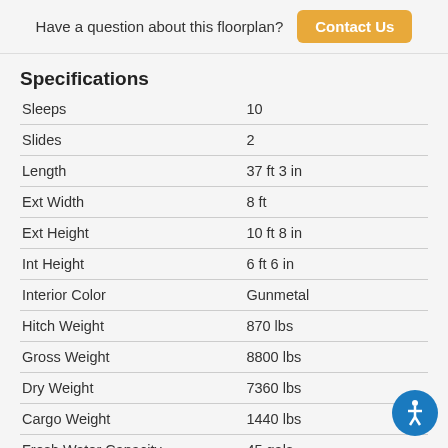Have a question about this floorplan? Contact Us
Specifications
| Specification | Value |
| --- | --- |
| Sleeps | 10 |
| Slides | 2 |
| Length | 37 ft 3 in |
| Ext Width | 8 ft |
| Ext Height | 10 ft 8 in |
| Int Height | 6 ft 6 in |
| Interior Color | Gunmetal |
| Hitch Weight | 870 lbs |
| Gross Weight | 8800 lbs |
| Dry Weight | 7360 lbs |
| Cargo Weight | 1440 lbs |
| Fresh Water Capacity | 45 gals |